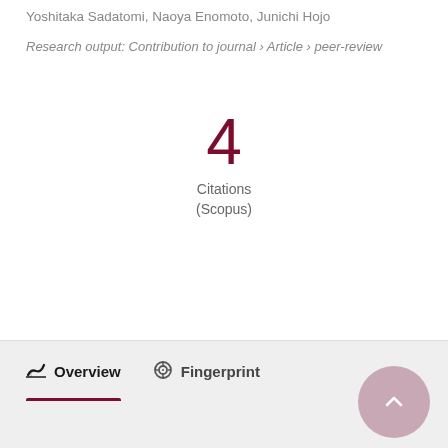Yoshitaka Sadatomi, Naoya Enomoto, Junichi Hojo
Research output: Contribution to journal › Article › peer-review
4
Citations
(Scopus)
Overview
Fingerprint